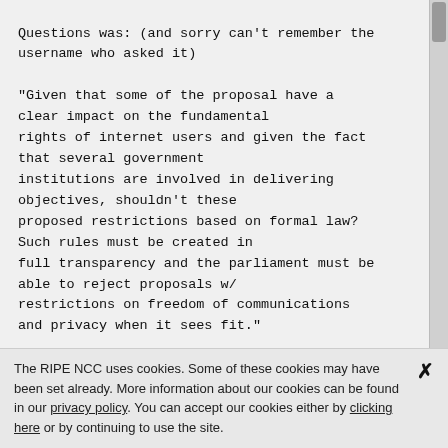Questions was: (and sorry can't remember the username who asked it)

"Given that some of the proposal have a clear impact on the fundamental rights of internet users and given the fact that several government institutions are involved in delivering objectives, shouldn't these proposed restrictions based on formal law? Such rules must be created in full transparency and the parliament must be able to reject proposals w/ restrictions on freedom of communications and privacy when it sees fit."

Answer from But Klaasen:

In the first place the clean IT project does
The RIPE NCC uses cookies. Some of these cookies may have been set already. More information about our cookies can be found in our privacy policy. You can accept our cookies either by clicking here or by continuing to use the site.